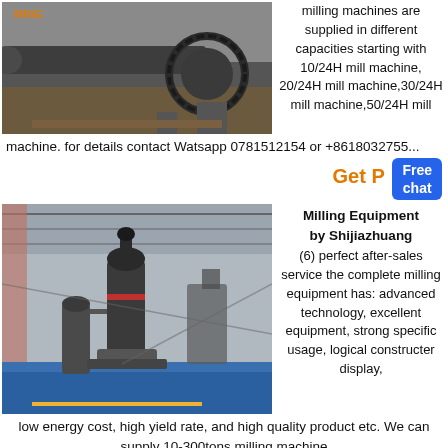[Figure (photo): Industrial ball mill machine on a factory floor, large cylindrical drum with gear mechanism]
milling machines are supplied in different capacities starting with 10/24H mill machine, 20/24H mill machine,30/24H mill machine,50/24H mill machine. for details contact Watsapp 0781512154 or +8618032755...
Get P...  Free chat
[Figure (photo): Large industrial milling equipment inside a factory warehouse, vertical mill machines on blue platform]
Milling Equipment by Shijiazhuang
(6) perfect after-sales service the complete milling equipment has: advanced technology, excellent equipment, strong specific usage, logical constructer display, low energy cost, high yield rate, and high quality product etc. We can supply 10-300tons milling machine